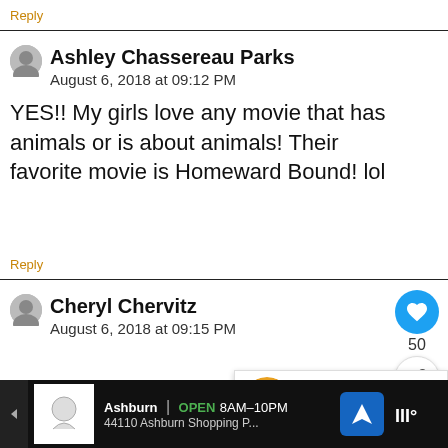Reply
Ashley Chassereau Parks
August 6, 2018 at 09:12 PM
YES!! My girls love any movie that has animals or is about animals! Their favorite movie is Homeward Bound! lol
Reply
Cheryl Chervitz
August 6, 2018 at 09:15 PM